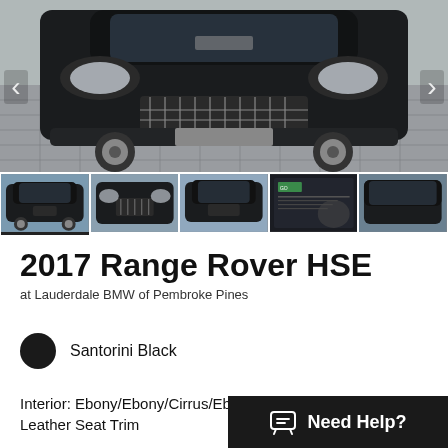[Figure (photo): Main photo of a black 2017 Range Rover HSE parked on a brick/cobblestone driveway, front-center view, with left and right navigation arrows on the sides.]
[Figure (photo): Thumbnail row showing 5 photos of the Range Rover: side/front view, front grille view, front 3/4 view, a dealership document/brochure with person, and a side view. First thumbnail is active (underlined).]
2017 Range Rover HSE
at Lauderdale BMW of Pembroke Pines
Santorini Black
Interior: Ebony/Ebony/Cirrus/Ebony w/F Leather Seat Trim
Need Help?